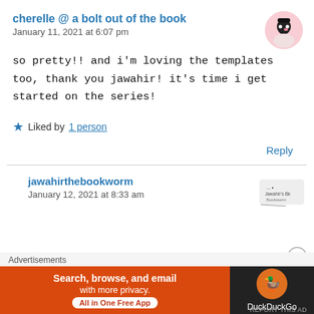cherelle @ a bolt out of the book
January 11, 2021 at 6:07 pm
so pretty!! and i'm loving the templates too, thank you jawahir! it's time i get started on the series!
Liked by 1 person
Reply
jawahirthebookworm
January 12, 2021 at 8:33 am
Advertisements
[Figure (screenshot): DuckDuckGo advertisement banner: orange left section with text 'Search, browse, and email with more privacy.' and 'All in One Free App' button, dark right section with DuckDuckGo logo and name.]